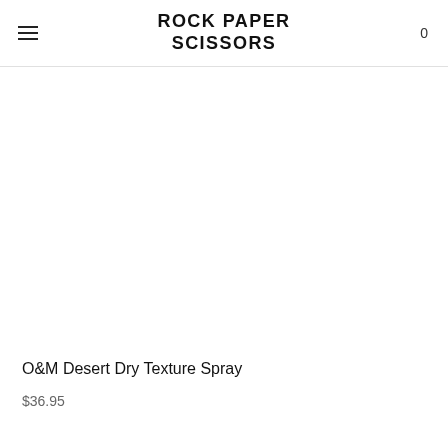ROCK PAPER SCISSORS
[Figure (photo): Product photo area for O&M Desert Dry Texture Spray — white/blank background]
O&M Desert Dry Texture Spray
$36.95